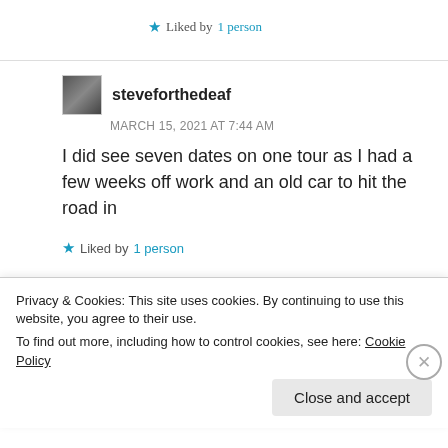★ Liked by 1 person
steveforthedeaf MARCH 15, 2021 AT 7:44 AM
I did see seven dates on one tour as I had a few weeks off work and an old car to hit the road in
★ Liked by 1 person
★ deKE MARCH 15, 2021 AT 5:11 AM
Privacy & Cookies: This site uses cookies. By continuing to use this website, you agree to their use.
To find out more, including how to control cookies, see here: Cookie Policy
Close and accept